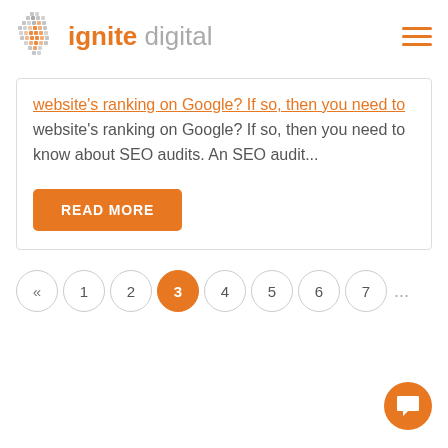ignite digital
website's ranking on Google? If so, then you need to know about SEO audits. An SEO audit...
READ MORE
« 1 2 3 4 5 6 7 ...